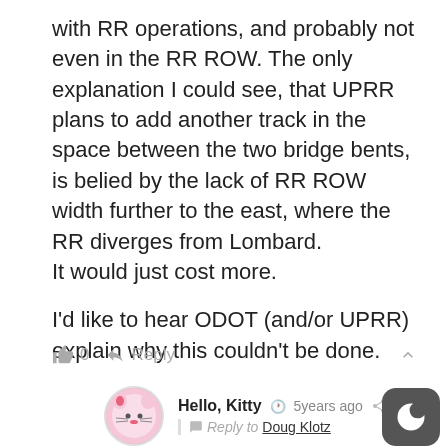with RR operations, and probably not even in the RR ROW. The only explanation I could see, that UPRR plans to add another track in the space between the two bridge bents, is belied by the lack of RR ROW width further to the east, where the RR diverges from Lombard.
It would just cost more.

I'd like to hear ODOT (and/or UPRR) explain why this couldn't be done.
Hello, Kitty  5years ago  Reply to Doug Klotz  What if UPRR doesn't want to sell their